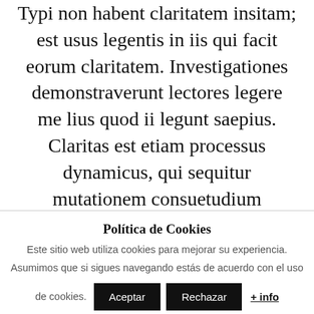Typi non habent claritatem insitam; est usus legentis in iis qui facit eorum claritatem. Investigationes demonstraverunt lectores legere me lius quod ii legunt saepius. Claritas est etiam processus dynamicus, qui sequitur mutationem consuetudium lectorum. Mirum est notare quam littera gothica, quam nunc putamus parum claram.
Política de Cookies
Este sitio web utiliza cookies para mejorar su experiencia.
Asumimos que si sigues navegando estás de acuerdo con el uso de cookies.
Aceptar | Rechazar | + info